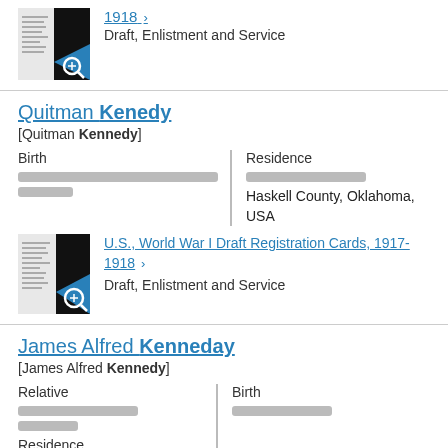1918 > Draft, Enlistment and Service
Quitman Kenedy [Quitman Kennedy]
Birth | Residence Haskell County, Oklahoma, USA
U.S., World War I Draft Registration Cards, 1917-1918 > Draft, Enlistment and Service
James Alfred Kenneday [James Alfred Kennedy]
Relative | Birth